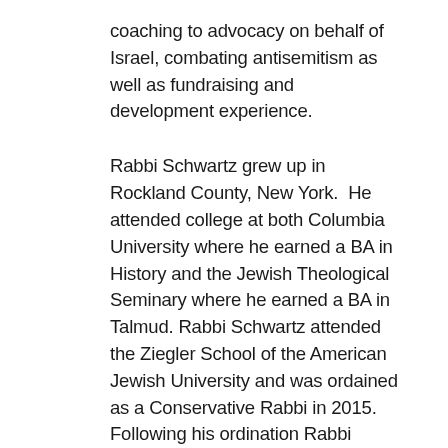coaching to advocacy on behalf of Israel, combating antisemitism as well as fundraising and development experience.
Rabbi Schwartz grew up in Rockland County, New York.  He attended college at both Columbia University where he earned a BA in History and the Jewish Theological Seminary where he earned a BA in Talmud. Rabbi Schwartz attended the Ziegler School of the American Jewish University and was ordained as a Conservative Rabbi in 2015. Following his ordination Rabbi Schwartz made a commitment to serve Hillel and Jewish college students as his career.  Rabbi